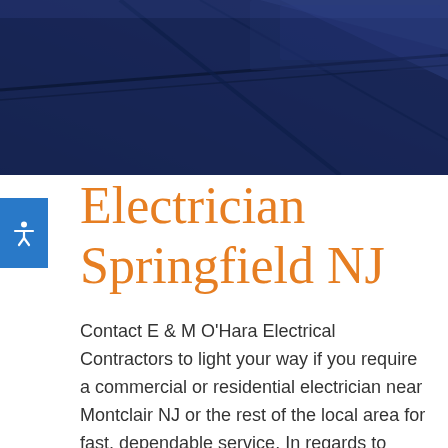[Figure (photo): Close-up photograph of dark blue electrical panels or conduit boxes from below/angle, showing rectangular metal surfaces with ridges and joints.]
Electrician Springfield NJ
Contact E & M O'Hara Electrical Contractors to light your way if you require a commercial or residential electrician near Montclair NJ or the rest of the local area for fast, dependable service. In regards to electric work we are able to get the job done efficiently and at a fair price thanks to our experience and knowledge. High quality landscape lighting is